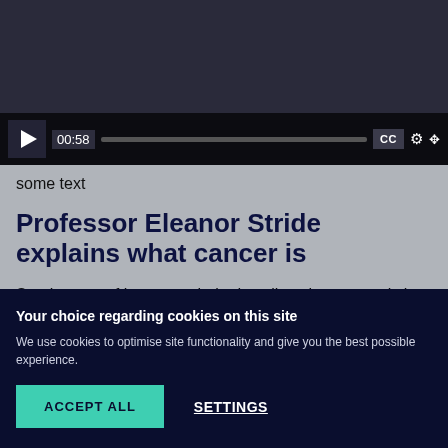[Figure (screenshot): Video player showing paused video with controls: play button, timestamp 00:58, progress bar, CC button, settings gear icon, fullscreen icon]
some text
Professor Eleanor Stride explains what cancer is
Sparing use of images to help describe what cancer is in a clear way.
Your choice regarding cookies on this site
We use cookies to optimise site functionality and give you the best possible experience.
ACCEPT ALL   SETTINGS